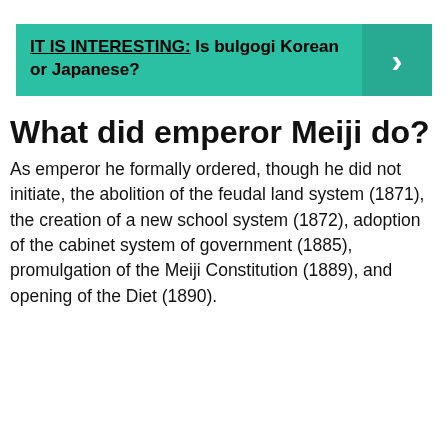(previous page content...)
[Figure (infographic): Teal banner with text 'IT IS INTERESTING: Is bulgogi Korean or Japanese?' and a right-arrow chevron on the right side]
What did emperor Meiji do?
As emperor he formally ordered, though he did not initiate, the abolition of the feudal land system (1871), the creation of a new school system (1872), adoption of the cabinet system of government (1885), promulgation of the Meiji Constitution (1889), and opening of the Diet (1890).